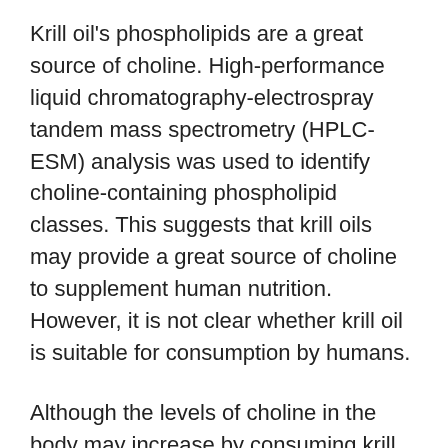Krill oil's phospholipids are a great source of choline. High-performance liquid chromatography-electrospray tandem mass spectrometry (HPLC-ESM) analysis was used to identify choline-containing phospholipid classes. This suggests that krill oils may provide a great source of choline to supplement human nutrition. However, it is not clear whether krill oil is suitable for consumption by humans.
Although the levels of choline in the body may increase by consuming krill oil, it is not known whether it will improve athletic performance. It is important to determine if krill oil can improve endurance and cognitive function of athletes. Further research will be possible on the impact of krill oils on endurance sports. All raw data will become available for free. So, if you are looking